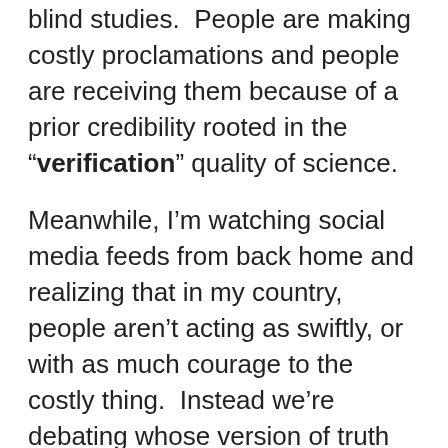blind studies.  People are making costly proclamations and people are receiving them because of a prior credibility rooted in the “verification” quality of science.
Meanwhile, I’m watching social media feeds from back home and realizing that in my country, people aren’t acting as swiftly, or with as much courage to the costly thing.  Instead we’re debating whose version of truth we’re going to believe.  I now believe it’s because we’ve been living in a post truth world where people are happily picking and choosing their own individualized views of reality, views that fit their FOX, or MSNBC, or whatever,